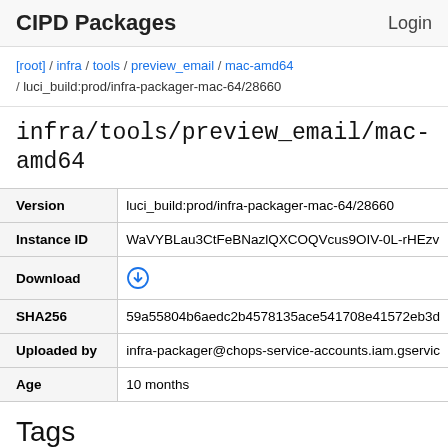CIPD Packages   Login
[root] / infra / tools / preview_email / mac-amd64 / luci_build:prod/infra-packager-mac-64/28660
infra/tools/preview_email/mac-amd64
| Field | Value |
| --- | --- |
| Version | luci_build:prod/infra-packager-mac-64/28660 |
| Instance ID | WaVYBLau3CtFeBNazlQXCOQVcus9OIV-0L-rHEzv... |
| Download | ↓ |
| SHA256 | 59a55804b6aedc2b4578135ace541708e41572eb3d... |
| Uploaded by | infra-packager@chops-service-accounts.iam.gservic... |
| Age | 10 months |
Tags